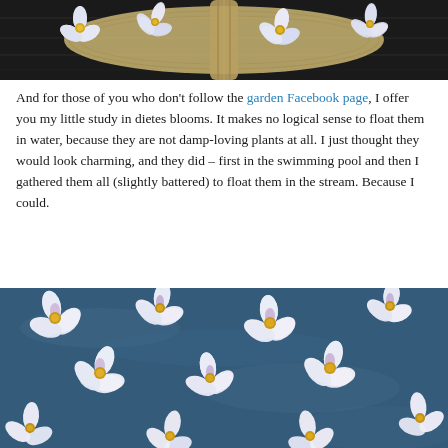[Figure (photo): Top portion of a photo showing white and purple dietes flowers arranged in a wicker basket on a dark wooden surface, viewed from above.]
And for those of you who don't follow the garden Facebook page, I offer you my little study in dietes blooms. It makes no logical sense to float them in water, because they are not damp-loving plants at all. I just thought they would look charming, and they did – first in the swimming pool and then I gathered them all (slightly battered) to float them in the stream. Because I could.
[Figure (photo): White and purple dietes flowers floating on blue water, viewed from above, scattered across the frame.]